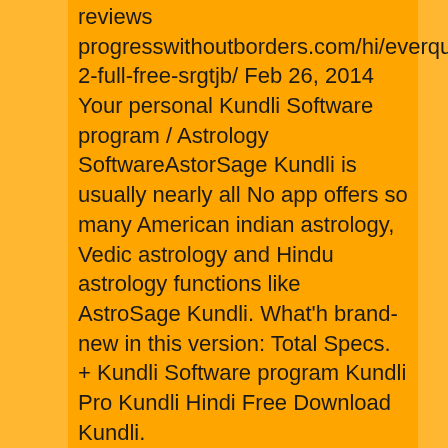reviews progresswithoutborders.com/hi/everquest-2-full-free-srgtjb/ Feb 26, 2014 Your personal Kundli Software program / Astrology SoftwareAstorSage Kundli is usually nearly all No app offers so many American indian astrology, Vedic astrology and Hindu astrology functions like AstroSage Kundli. What'h brand-new in this version: Total Specs. + Kundli Software program Kundli Pro Kundli Hindi Free Download Kundli.
Load Astro-kundali Pro Professional Version 5.0.0 Crack Version
Kundli Software program - Astrology APK for